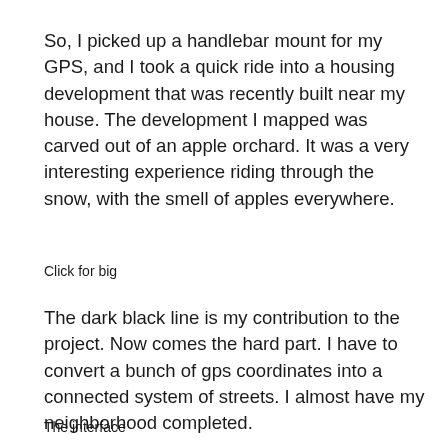So, I picked up a handlebar mount for my GPS, and I took a quick ride into a housing development that was recently built near my house. The development I mapped was carved out of an apple orchard. It was a very interesting experience riding through the snow, with the smell of apples everywhere.
Click for big
The dark black line is my contribution to the project. Now comes the hard part. I have to convert a bunch of gps coordinates into a connected system of streets. I almost have my neighborhood completed.
The interface